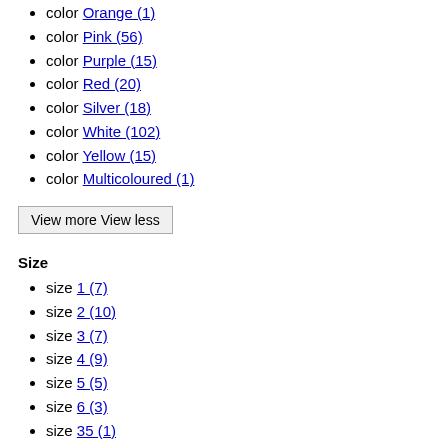color Orange (1)
color Pink (56)
color Purple (15)
color Red (20)
color Silver (18)
color White (102)
color Yellow (15)
color Multicoloured (1)
View more View less
Size
size 1 (7)
size 2 (10)
size 3 (7)
size 4 (9)
size 5 (5)
size 6 (3)
size 35 (1)
size 36 (1)
size 37 (2)
size 38 (2)
size 39 (2)
size 40 (2)